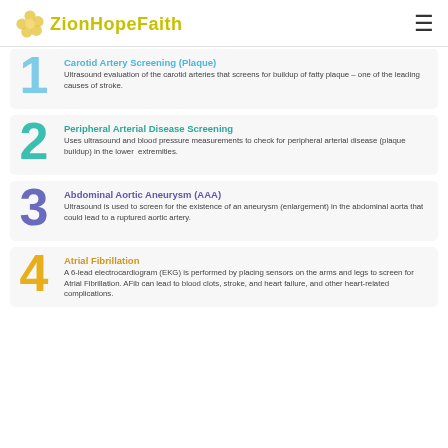ZionHopeFaith
1 - Carotid Artery Screening (Plaque): Ultrasound evaluation of the carotid arteries that screens for buildup of fatty plaque – one of the leading causes of stroke.
2 - Peripheral Arterial Disease Screening: Uses ultrasound and blood pressure measurements to check for peripheral arterial disease (plaque buildup) in the lower extremities.
3 - Abdominal Aortic Aneurysm (AAA): Ultrasound is used to screen for the existence of an aneurysm (enlargement) in the abdominal aorta that could lead to a ruptured aortic artery.
4 - Atrial Fibrillation: A 6-lead electrocardiogram (EKG) is performed by placing sensors on the arms and legs to screen for Atrial Fibrillation. AFib can lead to blood clots, stroke, and heart failure, and other heart-related complications.